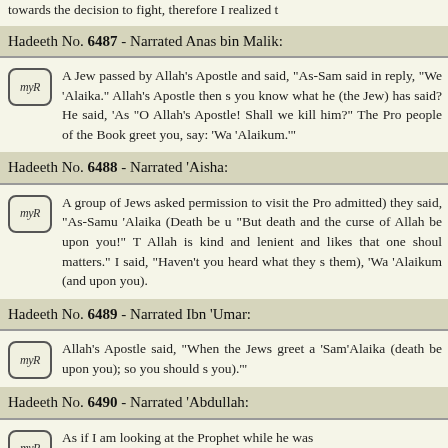towards the decision to fight, therefore I realized t
Hadeeth No. 6487 - Narrated Anas bin Malik:
A Jew passed by Allah's Apostle and said, "As-Sam said in reply, "We 'Alaika." Allah's Apostle then s you know what he (the Jew) has said? He said, 'As "O Allah's Apostle! Shall we kill him?" The Pro people of the Book greet you, say: 'Wa 'Alaikum.'"
Hadeeth No. 6488 - Narrated 'Aisha:
A group of Jews asked permission to visit the Pro admitted) they said, "As-Samu 'Alaika (Death be u "But death and the curse of Allah be upon you!" T Allah is kind and lenient and likes that one shoul matters." I said, "Haven't you heard what they s them), 'Wa 'Alaikum (and upon you).
Hadeeth No. 6489 - Narrated Ibn 'Umar:
Allah's Apostle said, "When the Jews greet a 'Sam'Alaika (death be upon you); so you should s you).'"
Hadeeth No. 6490 - Narrated 'Abdullah:
As if I am looking at the Prophet while he was